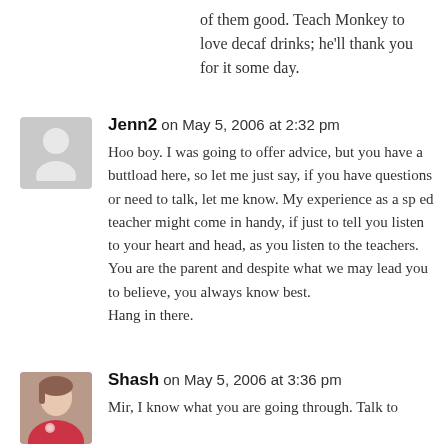of them good. Teach Monkey to love decaf drinks; he'll thank you for it some day.
Jenn2 on May 5, 2006 at 2:32 pm
Hoo boy. I was going to offer advice, but you have a buttload here, so let me just say, if you have questions or need to talk, let me know. My experience as a sp ed teacher might come in handy, if just to tell you listen to your heart and head, as you listen to the teachers. You are the parent and despite what we may lead you to believe, you always know best.
Hang in there.
Shash on May 5, 2006 at 3:36 pm
Mir, I know what you are going through. Talk to